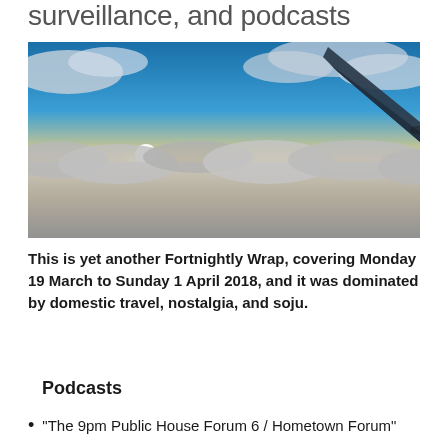surveillance, and podcasts
[Figure (photo): View from airplane window showing aircraft wing tip against dramatic sky with sun setting below cloud layer, clouds below and blue sky with white clouds above]
This is yet another Fortnightly Wrap, covering Monday 19 March to Sunday 1 April 2018, and it was dominated by domestic travel, nostalgia, and soju.
Podcasts
"The 9pm Public House Forum 6 / Hometown Forum"